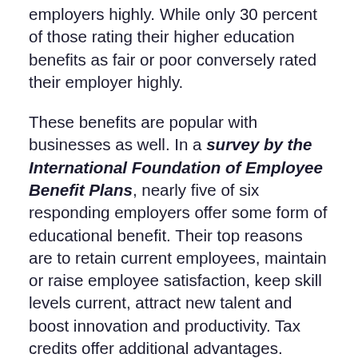employers highly. While only 30 percent of those rating their higher education benefits as fair or poor conversely rated their employer highly.
These benefits are popular with businesses as well. In a survey by the International Foundation of Employee Benefit Plans, nearly five of six responding employers offer some form of educational benefit. Their top reasons are to retain current employees, maintain or raise employee satisfaction, keep skill levels current, attract new talent and boost innovation and productivity. Tax credits offer additional advantages. Qualifying programs offer employers tax credits up to $5,250 per employee, per year.
At the same time, companies should offer these benefits with care as they do pose potential pitfalls. Higher education assistance can be costly, even when not covering full costs. Workers taking